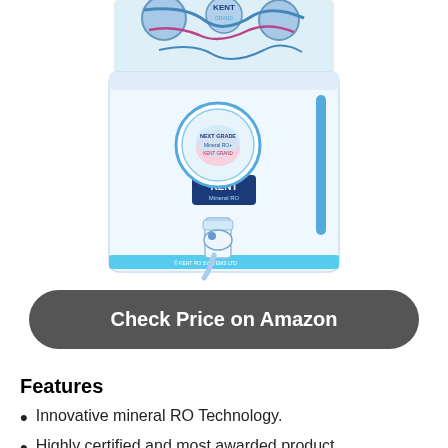[Figure (photo): Kent Mineral RO water purifier, white body with blue accents, circular badge on front, KENT logo, faucet at bottom, internal components visible at top]
Check Price on Amazon
Features
Innovative mineral RO Technology.
Highly certified and most awarded product
Have more than 1550 service centers in case